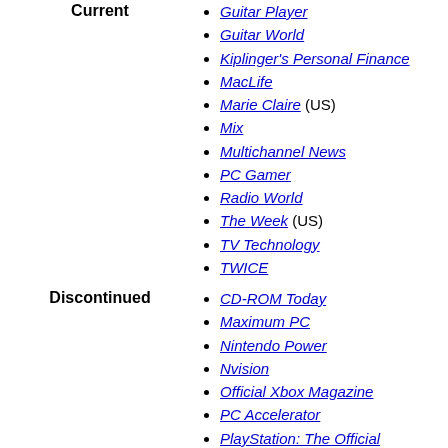Guitar Player
Guitar World
Kiplinger's Personal Finance
MacLife
Marie Claire (US)
Mix
Multichannel News
PC Gamer
Radio World
The Week (US)
TV Technology
TWICE
CD-ROM Today
Maximum PC
Nintendo Power
Nvision
Official Xbox Magazine
PC Accelerator
PlayStation: The Official Magazine
Radio
Australia
APC
Atomic